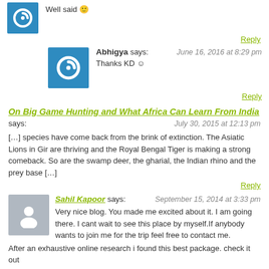Well said 🙂
Reply
Abhigya says:
June 16, 2016 at 8:29 pm
Thanks KD ☺
Reply
On Big Game Hunting and What Africa Can Learn From India says:
July 30, 2015 at 12:13 pm
[…] species have come back from the brink of extinction. The Asiatic Lions in Gir are thriving and the Royal Bengal Tiger is making a strong comeback. So are the swamp deer, the gharial, the Indian rhino and the prey base […]
Reply
Sahil Kapoor says:
September 15, 2014 at 3:33 pm
Very nice blog. You made me excited about it. I am going there. I cant wait to see this place by myself.If anybody wants to join me for the trip feel free to contact me.
After an exhaustive online research i found this best package. check it out
http://www.365hops.com/social/event_detail.php?eventid=VkZod1ZrNUJQVDA9
Reply
Abhigya says:
September 30, 2014 at 7:19 pm
Thanks Sahil. Hope you have a great sighting. Would love to hear more about your trip.